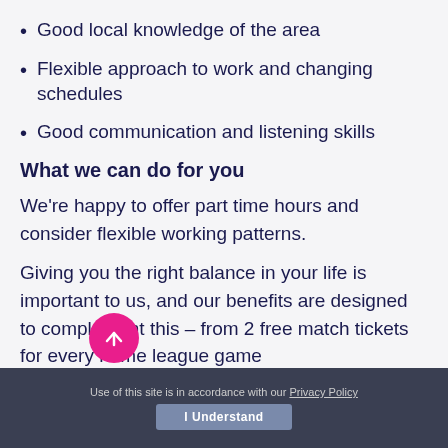Good local knowledge of the area
Flexible approach to work and changing schedules
Good communication and listening skills
What we can do for you
We're happy to offer part time hours and consider flexible working patterns.
Giving you the right balance in your life is important to us, and our benefits are designed to complement this – from 2 free match tickets for every home league game
Use of this site is in accordance with our Privacy Policy  I Understand